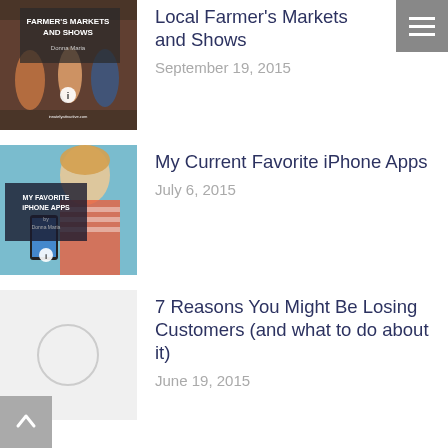[Figure (photo): Thumbnail for Local Farmer's Markets and Shows blog post]
Local Farmer's Markets and Shows
September 19, 2015
[Figure (photo): Thumbnail for My Current Favorite iPhone Apps blog post]
My Current Favorite iPhone Apps
July 6, 2015
[Figure (photo): Placeholder thumbnail for 7 Reasons You Might Be Losing Customers blog post]
7 Reasons You Might Be Losing Customers (and what to do about it)
June 19, 2015